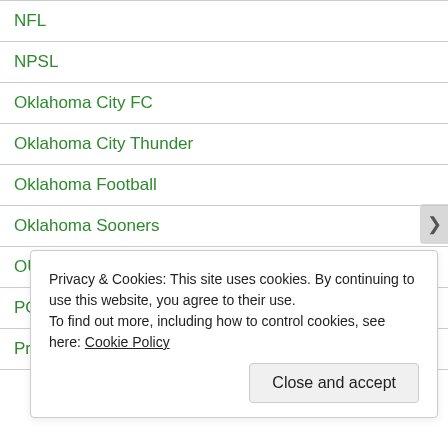NFL
NPSL
Oklahoma City FC
Oklahoma City Thunder
Oklahoma Football
Oklahoma Sooners
OU Football
PGA tour
Pro Football
Privacy & Cookies: This site uses cookies. By continuing to use this website, you agree to their use.
To find out more, including how to control cookies, see here: Cookie Policy
Close and accept